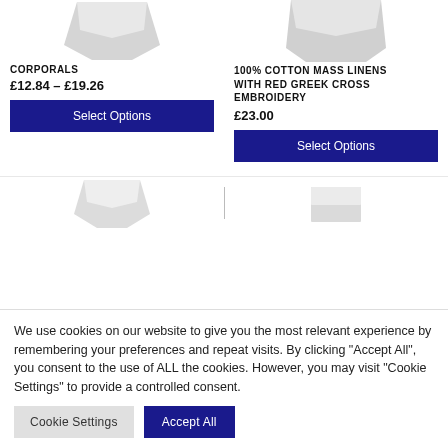[Figure (photo): Product image of corporals fabric, partially cropped at top]
[Figure (photo): Product image of 100% cotton mass linens with red greek cross embroidery, partially cropped at top]
CORPORALS
£12.84 – £19.26
Select Options
100% COTTON MASS LINENS WITH RED GREEK CROSS EMBROIDERY
£23.00
Select Options
[Figure (photo): Bottom row product images, partially visible]
We use cookies on our website to give you the most relevant experience by remembering your preferences and repeat visits. By clicking "Accept All", you consent to the use of ALL the cookies. However, you may visit "Cookie Settings" to provide a controlled consent.
Cookie Settings
Accept All